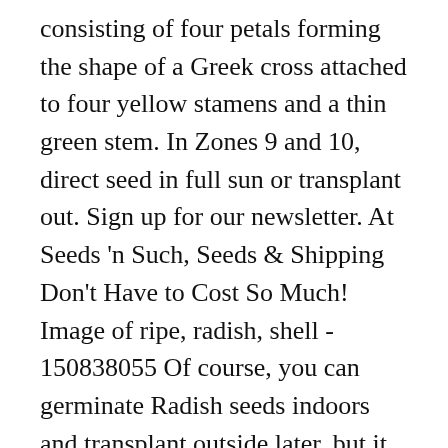consisting of four petals forming the shape of a Greek cross attached to four yellow stamens and a thin green stem. In Zones 9 and 10, direct seed in full sun or transplant out. Sign up for our newsletter. At Seeds 'n Such, Seeds & Shipping Don't Have to Cost So Much! Image of ripe, radish, shell - 150838055 Of course, you can germinate Radish seeds indoors and transplant outside later, but it is difficult to do so, and it is preferable to germinate Radish seeds directly in the soil outdoors. When to Plant Radish Plant radishes in both the spring and fall. Radish flowers are pollinated by insects, but are self-incompatible, meaning that a radish flower needs pollen from a flower on a